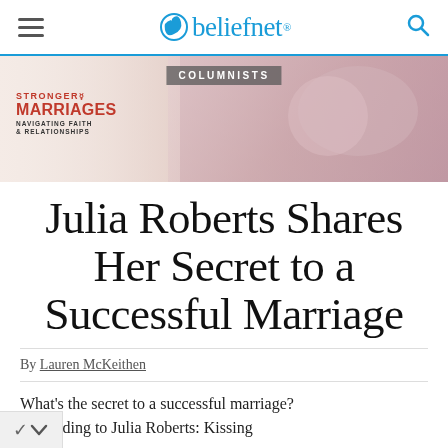beliefnet
COLUMNISTS
[Figure (photo): Hero banner image with Stronger Marriages logo overlay and soft pink/beige background with blurred figures]
Julia Roberts Shares Her Secret to a Successful Marriage
By Lauren McKeithen
What's the secret to a successful marriage? ...arding to Julia Roberts: Kissing